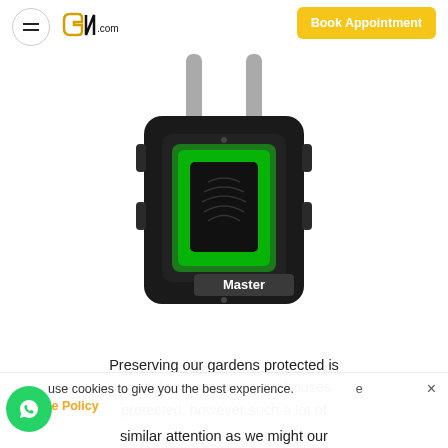≡  GN.com   Book Appointment
[Figure (photo): Black Master brand fingerprint padlock with green illuminated fingerprint sensor, two shackle bars visible at top on white background]
Preserving our gardens protected is as vital as conserving our houses protected. however such a lot of
use cookies to give you the best experience.   e
ie Policy
similar attention as we might our